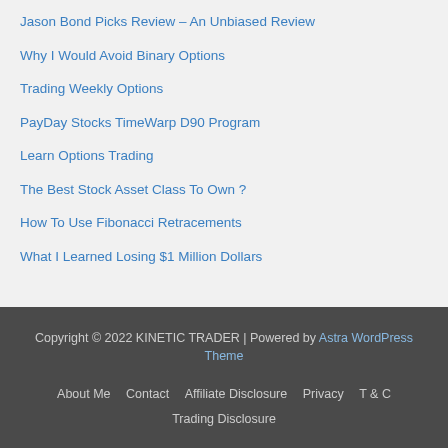Jason Bond Picks Review – An Unbiased Review
Why I Would Avoid Binary Options
Trading Weekly Options
PayDay Stocks TimeWarp D90 Program
Learn Options Trading
The Best Stock Asset Class To Own ?
How To Use Fibonacci Retracements
What I Learned Losing $1 Million Dollars
Copyright © 2022 KINETIC TRADER | Powered by Astra WordPress Theme
About Me   Contact   Affiliate Disclosure   Privacy   T & C
Trading Disclosure